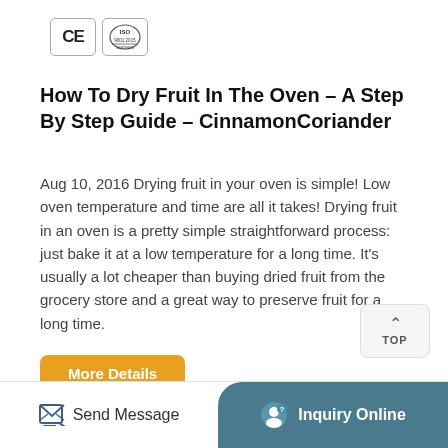[Figure (logo): CE and ISO certification logos in bordered boxes]
How To Dry Fruit In The Oven – A Step By Step Guide – CinnamonCoriander
Aug 10, 2016 Drying fruit in your oven is simple! Low oven temperature and time are all it takes! Drying fruit in an oven is a pretty simple straightforward process: just bake it at a low temperature for a long time. It's usually a lot cheaper than buying dried fruit from the grocery store and a great way to preserve fruit for a long time.
Send Message  |  Inquiry Online